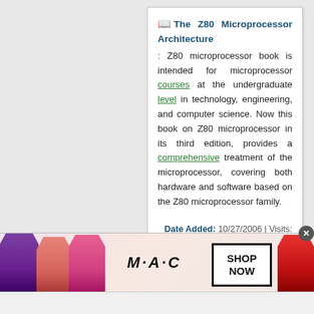The Z80 Microprocessor Architecture : Z80 microprocessor book is intended for microprocessor courses at the undergraduate level in technology, engineering, and computer science. Now this book on Z80 microprocessor in its third edition, provides a comprehensive treatment of the microprocessor, covering both hardware and software based on the Z80 microprocessor family.
Date Added: 10/27/2006 | Visits: 34243
[Figure (photo): MAC cosmetics advertisement banner showing lipsticks and SHOP NOW button]